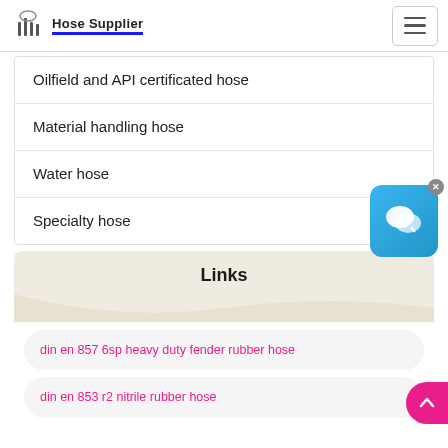Hose Supplier
Oilfield and API certificated hose
Material handling hose
Water hose
Specialty hose
Links
din en 857 6sp heavy duty fender rubber hose
din en 853 r2 nitrile rubber hose